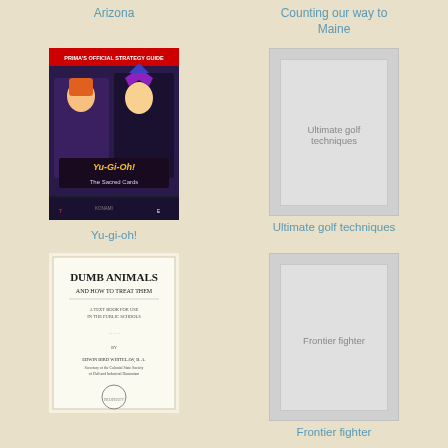Arizona
Counting our way to Maine
[Figure (photo): Yu-Gi-Oh! The Sacred Cards Prima's Official Strategy Guide book cover]
[Figure (other): Placeholder book cover for Ultimate golf techniques]
Yu-gi-oh!
Ultimate golf techniques
[Figure (photo): Dumb Animals and How to Treat Them book cover by Edwin Bird Whitney]
[Figure (other): Placeholder book cover for Frontier fighter]
Frontier fighter